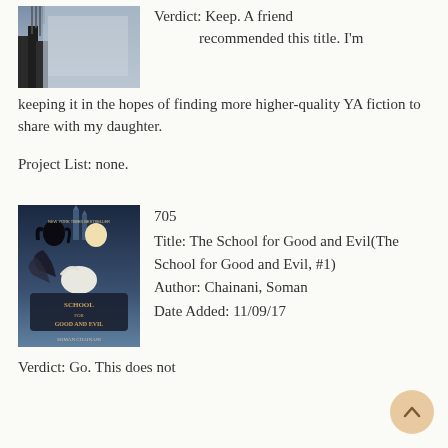[Figure (photo): Top portion of a dark book cover, partially visible, showing gothic/dark imagery with a figure]
Verdict: Keep. A friend recommended this title. I'm keeping it in the hopes of finding more higher-quality YA fiction to share with my daughter.
Project List: none.
[Figure (photo): Book cover of 'The School for Good and Evil' by Soman Chainani, showing two girls (one dark, one light) with a swan, fantasy art style]
705
Title: The School for Good and Evil(The School for Good and Evil, #1)
Author: Chainani, Soman
Date Added: 11/09/17
Verdict: Go. This does not